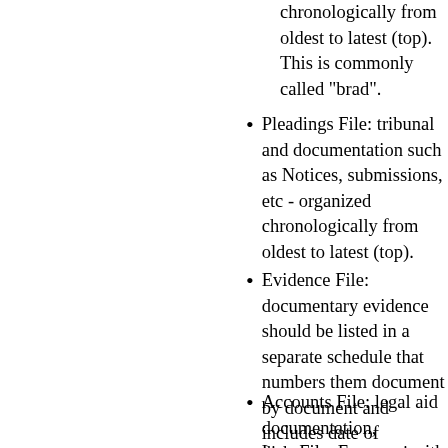chronologically from oldest to latest (top). This is commonly called a "brad".
Pleadings File: tribunal and documentation such as Notices, submissions, etc - organized chronologically from oldest to latest (top).
Evidence File: documentary evidence should be listed in a separate schedule that numbers them document by document and includes date of document and author, where you got it from, when you got it, who else you have sent it to or other side or filed with the Tribunal, and when you did this.
Accounts File: legal aid documentation, disbursements receipts, bills...
Law File: For cases with legal issues requiring research I keep my research and idea notes in such a file.